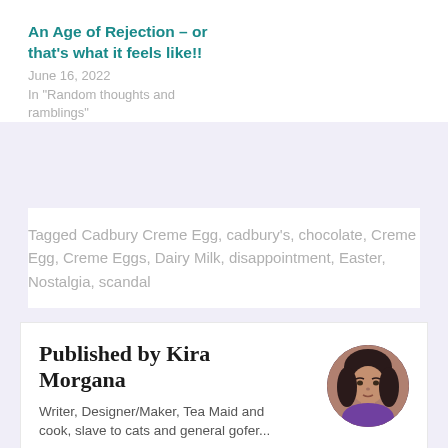An Age of Rejection – or that's what it feels like!!
June 16, 2022
In "Random thoughts and ramblings"
Tagged Cadbury Creme Egg, cadbury's, chocolate, Creme Egg, Creme Eggs, Dairy Milk, disappointment, Easter, Nostalgia, scandal
Published by Kira Morgana
Writer, Designer/Maker, Tea Maid and cook, slave to cats and general gofer...
View all posts by Kira Morgana
[Figure (photo): Circular portrait photo of Kira Morgana, a woman with dark hair, wearing a purple top]